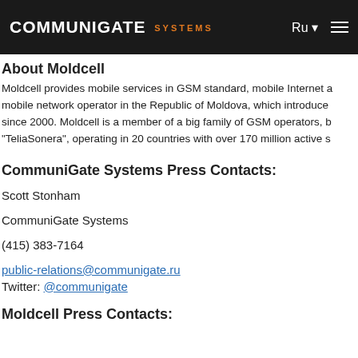CommuniGate SYSTEMS — Ru
About Moldcell
Moldcell provides mobile services in GSM standard, mobile Internet a mobile network operator in the Republic of Moldova, which introduce since 2000. Moldcell is a member of a big family of GSM operators, b "TeliaSonera", operating in 20 countries with over 170 million active s
CommuniGate Systems Press Contacts:
Scott Stonham
CommuniGate Systems
(415) 383-7164
public-relations@communigate.ru
Twitter: @communigate
Moldcell Press Contacts: